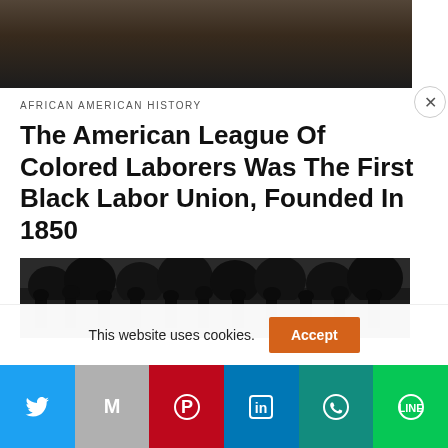[Figure (photo): Partial photograph at top of article, dark tones showing foliage/trees]
AFRICAN AMERICAN HISTORY
The American League Of Colored Laborers Was The First Black Labor Union, Founded In 1850
[Figure (photo): Black and white historical photograph showing a group of laborers wearing hats, standing in a field with trees in background]
This website uses cookies.
Accept